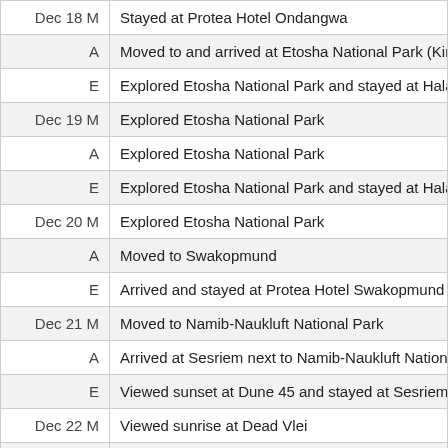| Time | Activity |
| --- | --- |
| Dec 18 M | Stayed at Protea Hotel Ondangwa |
| A | Moved to and arrived at Etosha National Park (King Nehale Lya M… |
| E | Explored Etosha National Park and stayed at Halali Campsite |
| Dec 19 M | Explored Etosha National Park |
| A | Explored Etosha National Park |
| E | Explored Etosha National Park and stayed at Halali campsite |
| Dec 20 M | Explored Etosha National Park |
| A | Moved to Swakopmund |
| E | Arrived and stayed at Protea Hotel Swakopmund Burning Shore |
| Dec 21 M | Moved to Namib-Naukluft National Park |
| A | Arrived at Sesriem next to Namib-Naukluft National Park |
| E | Viewed sunset at Dune 45 and stayed at Sesriem campsite |
| Dec 22 M | Viewed sunrise at Dead Vlei |
| A | Moved to Windhoek |
| E | Arrived at Windhoek and stayed at Protea Hotel Windhoek Thuri… |